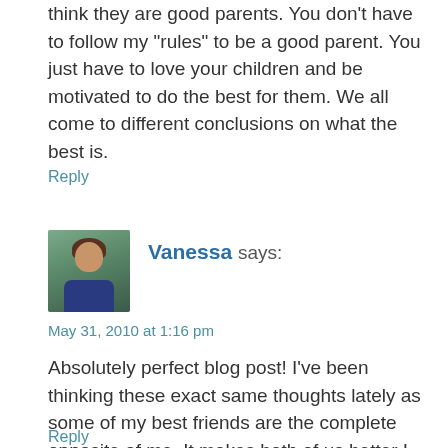think they are good parents. You don't have to follow my "rules" to be a good parent. You just have to love your children and be motivated to do the best for them. We all come to different conclusions on what the best is.
Reply
[Figure (photo): Avatar photo of Vanessa, a woman with dark hair, smiling, wearing a dark top, outdoor background]
Vanessa says:
May 31, 2010 at 1:16 pm
Absolutely perfect blog post! I've been thinking these exact same thoughts lately as some of my best friends are the complete opposite of me. It makes both of us better I think! :)
Reply